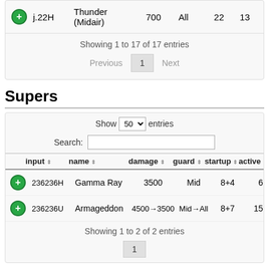| input | name | damage | guard | startup | active |
| --- | --- | --- | --- | --- | --- |
| j.22H | Thunder (Midair) | 700 | All | 22 | 13 |
Showing 1 to 17 of 17 entries
Previous  1  Next
Supers
Show 50 entries
Search:
| input | name | damage | guard | startup | active |
| --- | --- | --- | --- | --- | --- |
| 236236H | Gamma Ray | 3500 | Mid | 8+4 | 6 |
| 236236U | Armageddon | 4500→3500 | Mid→All | 8+7 | 15 |
Showing 1 to 2 of 2 entries